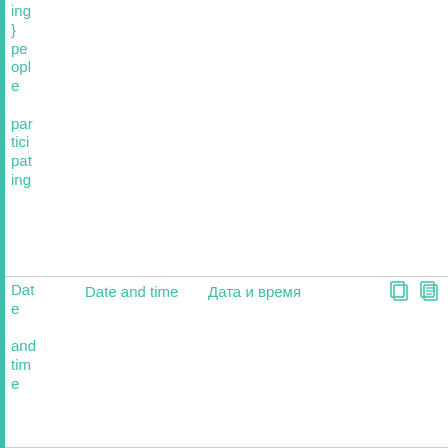| Key | English | Russian | Actions |
| --- | --- | --- | --- |
| ing
}
people
participating |  |  |  |
| Date and time | Date and time | Дата и время | copy icons |
| Location | Location | Местонахождение | copy icons |